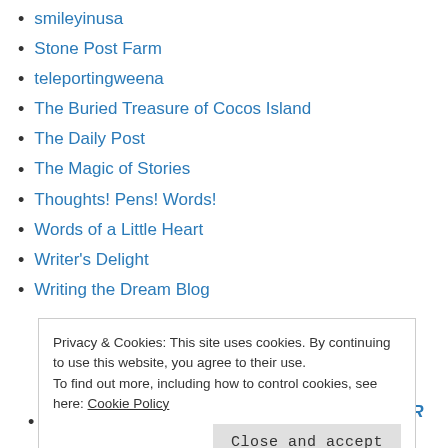smileyinusa
Stone Post Farm
teleportingweena
The Buried Treasure of Cocos Island
The Daily Post
The Magic of Stories
Thoughts! Pens! Words!
Words of a Little Heart
Writer's Delight
Writing the Dream Blog
Privacy & Cookies: This site uses cookies. By continuing to use this website, you agree to their use. To find out more, including how to control cookies, see here: Cookie Policy
Cocos Island Treasure Book Trailer Book trailer for